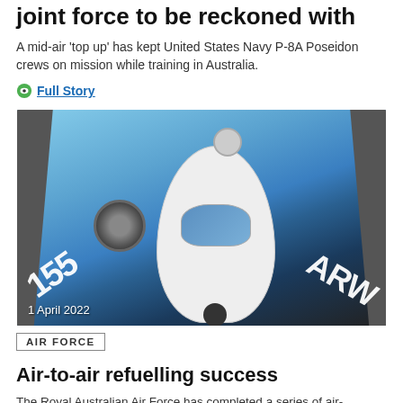joint force to be reckoned with
A mid-air 'top up' has kept United States Navy P-8A Poseidon crews on mission while training in Australia.
Full Story
[Figure (photo): Close-up aerial photo of a P-8A Poseidon aircraft during mid-air refuelling, with refueling boom visible in foreground. Wings marked with '155' and 'ARW'. Date overlay reads '1 April 2022'.]
1 April 2022
AIR FORCE
Air-to-air refuelling success
The Royal Australian Air Force has completed a series of air-